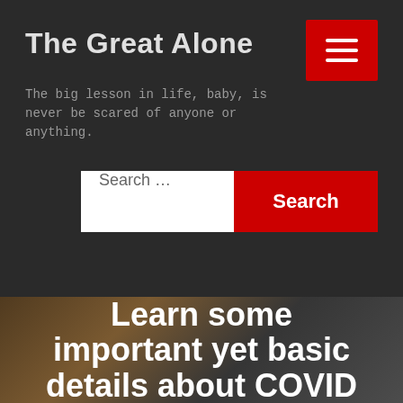The Great Alone
The big lesson in life, baby, is never be scared of anyone or anything.
[Figure (screenshot): Search bar with white input field showing 'Search …' placeholder and red Search button]
[Figure (photo): Hero image with dark background showing text overlay: Learn some important yet basic details about COVID]
Learn some important yet basic details about COVID